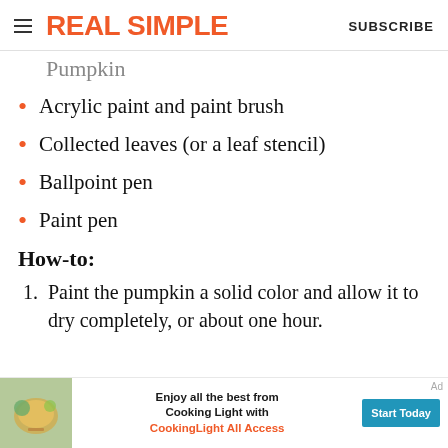REAL SIMPLE | SUBSCRIBE
Pumpkin (partial, cut off)
Acrylic paint and paint brush
Collected leaves (or a leaf stencil)
Ballpoint pen
Paint pen
How-to:
Paint the pumpkin a solid color and allow it to dry completely, or about one hour.
[Figure (infographic): Advertisement banner for Cooking Light with an image of food, text 'Enjoy all the best from Cooking Light with CookingLight All Access' and a blue 'Start Today' button. An 'Ad' label is visible.]